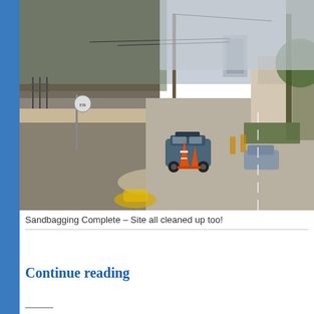[Figure (photo): Outdoor street scene showing a gravel/dirt lot and road after sandbagging. An SUV with orange traffic cones is parked near a utility pole. Bare trees, a house on the right side, and a building visible in the background. Sandy residue spread on the road surface.]
Sandbagging Complete – Site all cleaned up too!
Continue reading